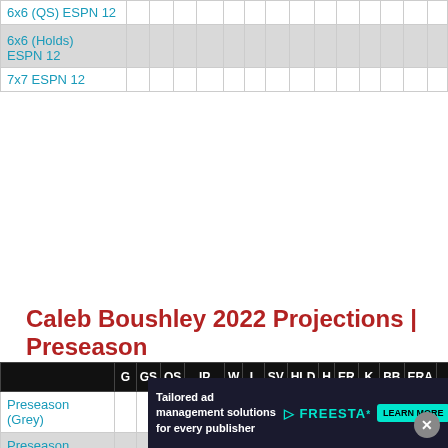|  | G | GS | QS | IP | W | L | SV | HLD | H | ER | K | BB | ERA |  |
| --- | --- | --- | --- | --- | --- | --- | --- | --- | --- | --- | --- | --- | --- | --- |
| 6x6 (QS) ESPN 12 |  |  |  |  |  |  |  |  |  |  |  |  |  |  |
| 6x6 (Holds) ESPN 12 |  |  |  |  |  |  |  |  |  |  |  |  |  |  |
| 7x7 ESPN 12 |  |  |  |  |  |  |  |  |  |  |  |  |  |  |
Caleb Boushley 2022 Projections | Preseason
|  | G | GS | QS | IP | W | L | SV | HLD | H | ER | K | BB | ERA |  |
| --- | --- | --- | --- | --- | --- | --- | --- | --- | --- | --- | --- | --- | --- | --- |
| Preseason (Grey) |  |  |  |  |  |  |  |  |  |  |  |  |  |  |
| Preseason (Steamer) |  |  |  |  |  |  |  |  |  |  |  |  |  |  |
| Prospectonator | 30 | 30 | 11 | 150.0 | 7 | 11 |  |  |  | 88 | 96 | 47 | 5.2 |  |